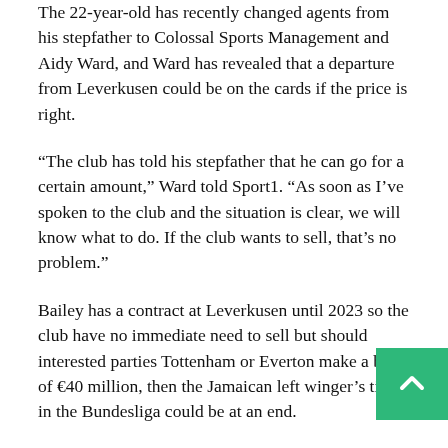The 22-year-old has recently changed agents from his stepfather to Colossal Sports Management and Aidy Ward, and Ward has revealed that a departure from Leverkusen could be on the cards if the price is right.
“The club has told his stepfather that he can go for a certain amount,” Ward told Sport1. “As soon as I’ve spoken to the club and the situation is clear, we will know what to do. If the club wants to sell, that’s no problem.”
Bailey has a contract at Leverkusen until 2023 so the club have no immediate need to sell but should interested parties Tottenham or Everton make a bid of €40 million, then the Jamaican left winger’s time in the Bundesliga could be at an end.
There was much speculation over Bailey after the winger enjoyed a fantastic 2017-18 season with Leverkusen scoring nine goals and adding six assists. Speculation arose that Bayern were interested in him as a potential heir to Frank Ribéry. In the end he remained in the Rheinland, but his form